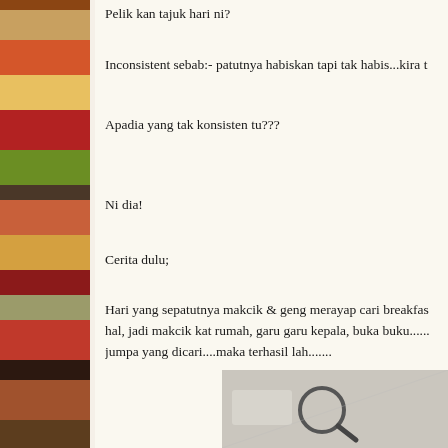Pelik kan tajuk hari ni?
Inconsistent sebab:- patutnya habiskan tapi tak habis...kira t
Apadia yang tak konsisten tu???
Ni dia!
Cerita dulu;
Hari yang sepatutnya makcik & geng merayap cari breakfas hal, jadi makcik kat rumah, garu garu kepala, buka buku...... jumpa yang dicari....maka terhasil lah.......
[Figure (photo): A photo showing what appears to be a magnifying glass or similar object on a light background]